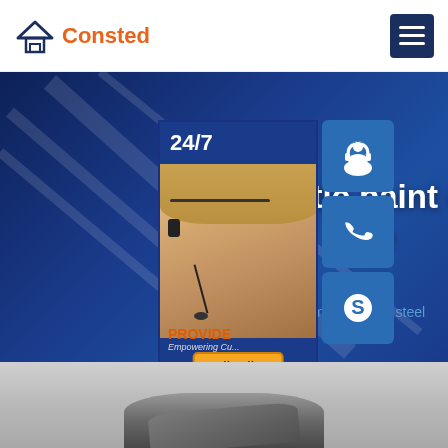Consted
antiseptic paint coati tube
Home » A572 steel
[Figure (photo): Customer service sidebar widget with 24/7 text, person with headset photo, headphone icon, phone icon, Skype icon, PROVIDE Empowering Customers text, and online live button]
[Figure (photo): Product photo showing metallic coated tube/sheet at bottom of page]